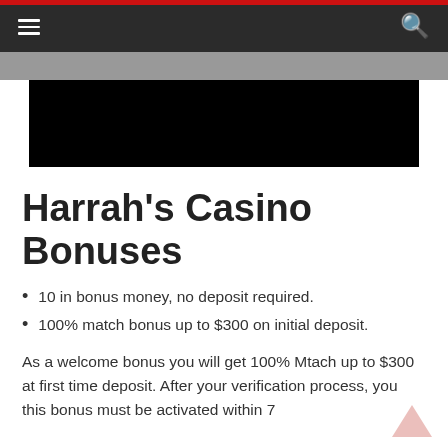Navigation bar with hamburger menu and search icon
[Figure (photo): Partial image showing dark/black rectangle representing a casino or promotional image area]
Harrah's Casino Bonuses
10 in bonus money, no deposit required.
100% match bonus up to $300 on initial deposit.
As a welcome bonus you will get 100% Mtach up to $300 at first time deposit. After your verification process, you this bonus must be activated within 7